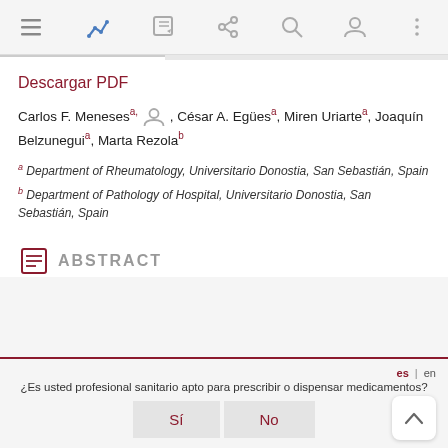[Navigation bar with menu, bookmark, edit, share, search, profile, more icons]
Descargar PDF
Carlos F. Menesesᵃ, César A. Egüesa, Miren Uriartea, Joaquín Belzuneguia, Marta Rezolaᵇ
ᵃ Department of Rheumatology, Universitario Donostia, San Sebastián, Spain
ᵇ Department of Pathology of Hospital, Universitario Donostia, San Sebastián, Spain
ABSTRACT
¿Es usted profesional sanitario apto para prescribir o dispensar medicamentos?
Sí | No